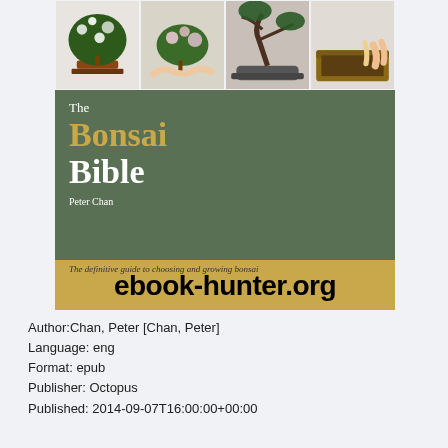[Figure (photo): Book cover of 'The Bonsai Bible' by Peter Chan. Top portion shows four photos of bonsai trees and hands working with bonsai. Middle portion is a dark olive/green background with the title text 'The Bonsai Bible' and author name 'Peter Chan'. Bottom tan/gold banner shows 'The definitive guide to choosing and growing bonsai' with a watermark overlay reading 'ebook-hunter.org'.]
Author:Chan, Peter [Chan, Peter]
Language: eng
Format: epub
Publisher: Octopus
Published: 2014-09-07T16:00:00+00:00